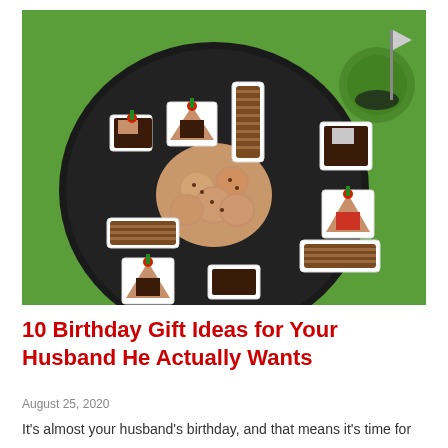[Figure (photo): Overhead view of a black plate with assorted desserts including chocolate-dipped strawberries, cookies, and chocolate-covered pretzel rods, arranged on a green golf-themed background with a golf hole visible in the upper right corner.]
10 Birthday Gift Ideas for Your Husband He Actually Wants
August 25, 2020
It's almost your husband's birthday, and that means it's time for